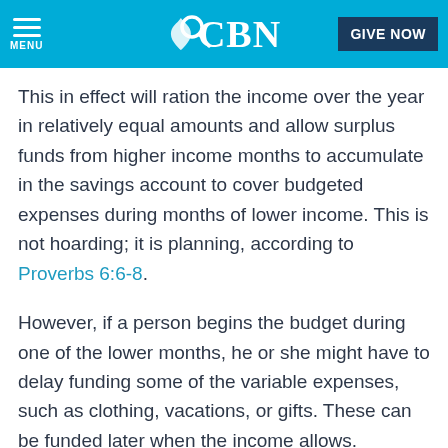CBN — GIVE NOW
This in effect will ration the income over the year in relatively equal amounts and allow surplus funds from higher income months to accumulate in the savings account to cover budgeted expenses during months of lower income. This is not hoarding; it is planning, according to Proverbs 6:6-8.
However, if a person begins the budget during one of the lower months, he or she might have to delay funding some of the variable expenses, such as clothing, vacations, or gifts. These can be funded later when the income allows.